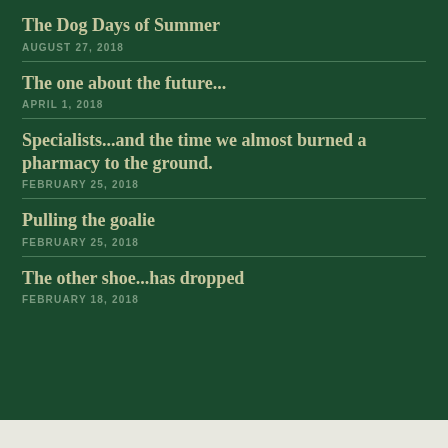The Dog Days of Summer
AUGUST 27, 2018
The one about the future...
APRIL 1, 2018
Specialists...and the time we almost burned a pharmacy to the ground.
FEBRUARY 25, 2018
Pulling the goalie
FEBRUARY 25, 2018
The other shoe...has dropped
FEBRUARY 18, 2018